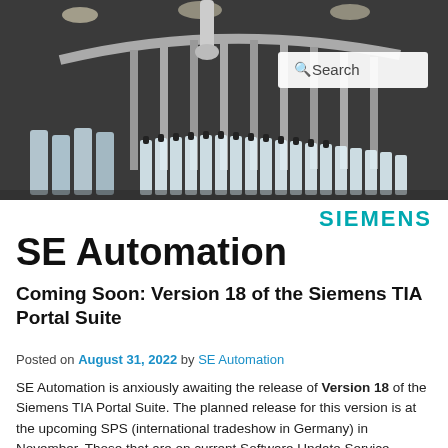[Figure (photo): Industrial bottling/filling machine with bottles on a conveyor carousel in a factory setting. Search box overlay visible in upper right.]
SE Automation
Coming Soon: Version 18 of the Siemens TIA Portal Suite
Posted on August 31, 2022 by SE Automation
SE Automation is anxiously awaiting the release of Version 18 of the Siemens TIA Portal Suite. The planned release for this version is at the upcoming SPS (international tradeshow in Germany) in November. Those that are on current Software Update Service...